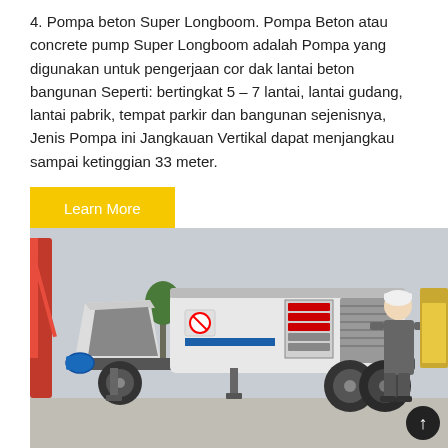4. Pompa beton Super Longboom. Pompa Beton atau concrete pump Super Longboom adalah Pompa yang digunakan untuk pengerjaan cor dak lantai beton bangunan Seperti: bertingkat 5 – 7 lantai, lantai gudang, lantai pabrik, tempat parkir dan bangunan sejenisnya, Jenis Pompa ini Jangkauan Vertikal dapat menjangkau sampai ketinggian 33 meter.
[Figure (photo): A concrete pump (pompa beton) machine on a trailer with a worker in grey overalls inspecting the control panel. The machine is white with a blue connector hose at the front and a large hopper. A red crane is visible in the background.]